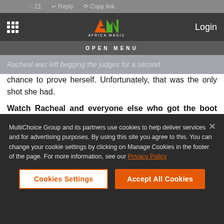21  Reply  Copy link
[Figure (screenshot): Africa Magic navigation bar with grid menu icon, Africa Magic logo (AM in orange and green), and Login button on dark background. Open Menu label shown below.]
Racheal was left begging the judges for a second chance to prove herself. Unfortunately, that was the only shot she had.
Watch Racheal and everyone else who got the boot here.
MultiChoice Group and its partners use cookies to help deliver services and for advertising purposes. By using this site you agree to this. You can change your cookie settings by clicking on Manage Cookies in the footer of the page. For more information, see our Privacy Policy